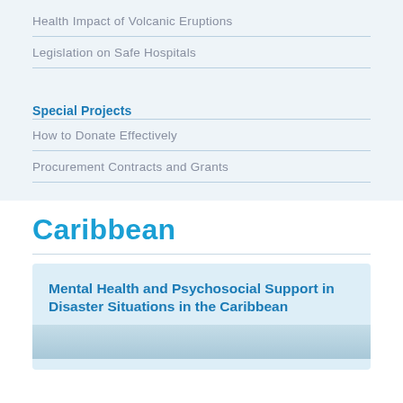Health Impact of Volcanic Eruptions
Legislation on Safe Hospitals
Special Projects
How to Donate Effectively
Procurement Contracts and Grants
Caribbean
Mental Health and Psychosocial Support in Disaster Situations in the Caribbean
[Figure (photo): Photo strip at bottom of card showing Caribbean scene]